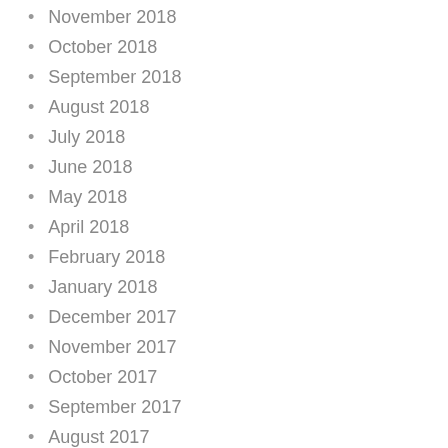November 2018
October 2018
September 2018
August 2018
July 2018
June 2018
May 2018
April 2018
February 2018
January 2018
December 2017
November 2017
October 2017
September 2017
August 2017
June 2017
May 2017